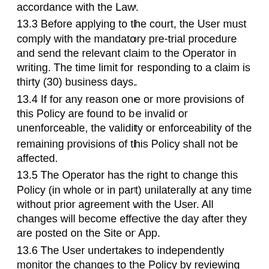accordance with the Law.
13.3 Before applying to the court, the User must comply with the mandatory pre-trial procedure and send the relevant claim to the Operator in writing. The time limit for responding to a claim is thirty (30) business days.
13.4 If for any reason one or more provisions of this Policy are found to be invalid or unenforceable, the validity or enforceability of the remaining provisions of this Policy shall not be affected.
13.5 The Operator has the right to change this Policy (in whole or in part) unilaterally at any time without prior agreement with the User. All changes will become effective the day after they are posted on the Site or App.
13.6 The User undertakes to independently monitor the changes to the Policy by reviewing the current version.
14. Operator's details